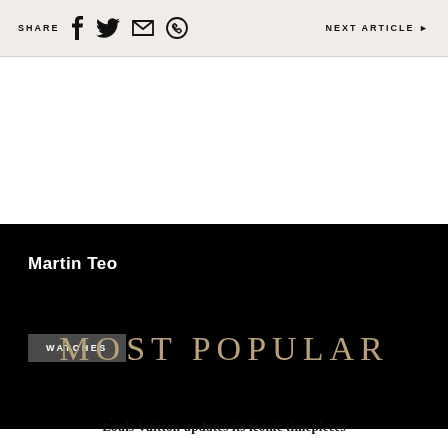SHARE  NEXT ARTICLE ▶
[Figure (other): Black background section with author name 'Martin Teo' and a 'WATCHES' tag button]
MOST POPULAR
STYLE
Louis Vuitton updates its iconic timepieces